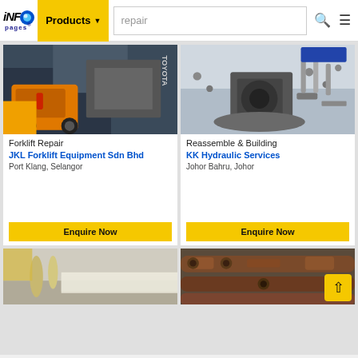INFO pages — Products — search: repair
[Figure (photo): Forklift repair workshop with Toyota forklift engine being serviced]
Forklift Repair
JKL Forklift Equipment Sdn Bhd
Port Klang, Selangor
Enquire Now
[Figure (photo): Hydraulic pump parts disassembled on workbench for reassembly and building]
Reassemble & Building
KK Hydraulic Services
Johor Bahru, Johor
Enquire Now
[Figure (photo): Rubber or material sheets on a table, partial view of bottom card]
[Figure (photo): Rusty metal industrial parts, partial view of bottom card]